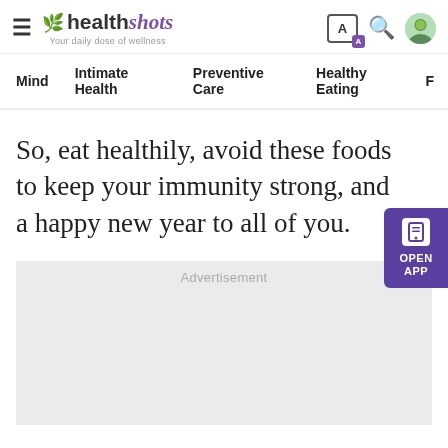[Figure (logo): Healthshots logo with leaf icon and tagline 'Your daily dose of wellness']
Mind  Intimate Health  Preventive Care  Healthy Eating  F
So, eat healthily, avoid these foods to keep your immunity strong, and a happy new year to all of you.
[Figure (other): Advertisement placeholder (gray box)]